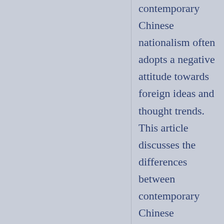contemporary Chinese nationalism often adopts a negative attitude towards foreign ideas and thought trends. This article discusses the differences between contemporary Chinese nationalism and the May Fourth Movement nationalism